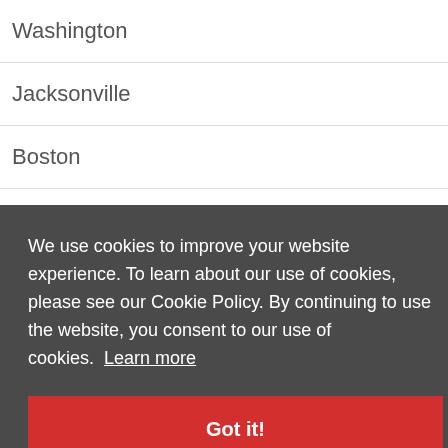Washington
Jacksonville
Boston
Dallas
We use cookies to improve your website experience. To learn about our use of cookies, please see our Cookie Policy. By continuing to use the website, you consent to our use of cookies.  Learn more
Got it!